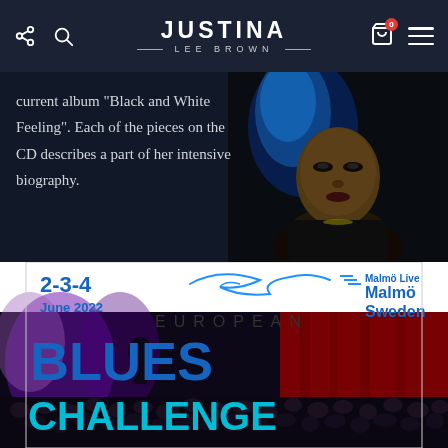JUSTINA LEE BROWN — website navigation header
current album “Black and White Feeling”. Each of the pieces on the CD describes a part of her intensive biography.
[Figure (photo): Portrait photo of Justina Lee Brown with blue hair against dark background]
[Figure (infographic): European Blues Challenge promotional banner: 2-3-4 June 2022, Malmö Live, Malmö, Sweden]